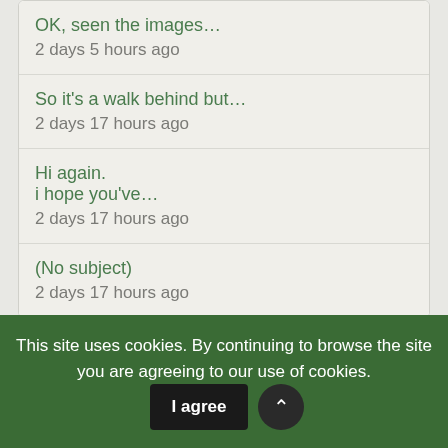OK, seen the images...
2 days 5 hours ago
So it's a walk behind but...
2 days 17 hours ago
Hi again.
i hope you've...
2 days 17 hours ago
(No subject)
2 days 17 hours ago
User Menu
This site uses cookies. By continuing to browse the site you are agreeing to our use of cookies.